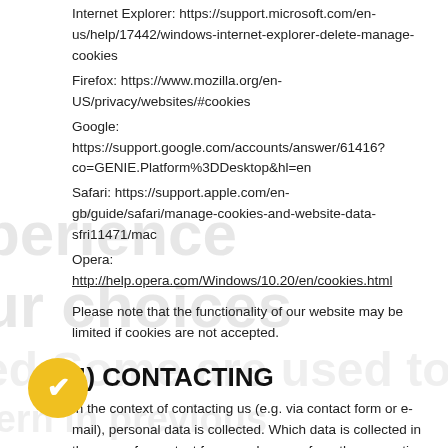Internet Explorer: https://support.microsoft.com/en-us/help/17442/windows-internet-explorer-delete-manage-cookies
Firefox: https://www.mozilla.org/en-US/privacy/websites/#cookies
Google: https://support.google.com/accounts/answer/61416?co=GENIE.Platform%3DDesktop&hl=en
Safari: https://support.apple.com/en-gb/guide/safari/manage-cookies-and-website-data-sfri11471/mac
Opera: http://help.opera.com/Windows/10.20/en/cookies.html
Please note that the functionality of our website may be limited if cookies are not accepted.
4) CONTACTING
In the context of contacting us (e.g. via contact form or e-mail), personal data is collected. Which data is collected in the case of a contact form can be seen from the respective contact form. These data are stored and used exclusively for the purpose of responding to your request or for establishing and for the associated technical administration. The legal basis for processing data is our legitimate interest in responding to your request in